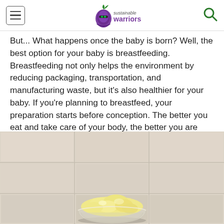sustainable warriors
But... What happens once the baby is born? Well, the best option for your baby is breastfeeding. Breastfeeding not only helps the environment by reducing packaging, transportation, and manufacturing waste, but it's also healthier for your baby. If you're planning to breastfeed, your preparation starts before conception. The better you eat and take care of your body, the better you are able to nourish your baby...The sooner you start, the better!
[Figure (photo): A glass bowl filled with a pale yellow creamy food (possibly pureed banana or baby food), photographed against a tiled background.]